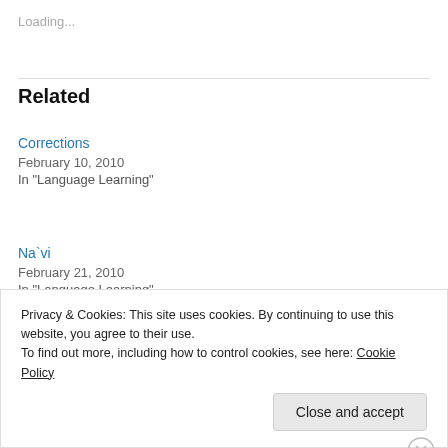Loading...
Related
Corrections
February 10, 2010
In "Language Learning"
Na`vi
February 21, 2010
In "Language Learning"
Privacy & Cookies: This site uses cookies. By continuing to use this website, you agree to their use.
To find out more, including how to control cookies, see here: Cookie Policy